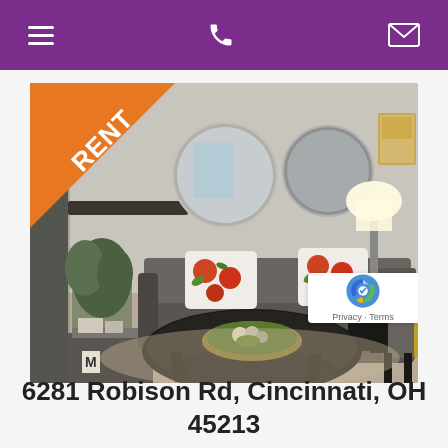Navigation header with hamburger menu, phone icon, and mail icon
[Figure (photo): Interior living room photo of an apartment with a gray sofa with floral pillows, round mirrors on the wall, a black oval coffee table, a reading chair with orange pillow, and a RENT banner in the top-left corner]
6281 Robison Rd, Cincinnati, OH 45213